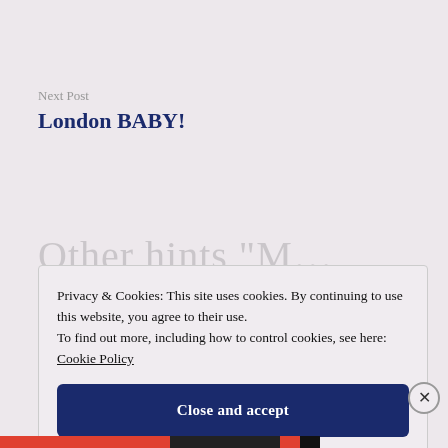Next Post
London BABY!
Privacy & Cookies: This site uses cookies. By continuing to use this website, you agree to their use.
To find out more, including how to control cookies, see here: Cookie Policy
Close and accept